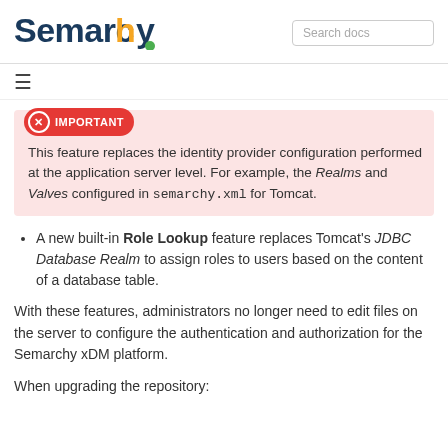Semarchy | Search docs
IMPORTANT
This feature replaces the identity provider configuration performed at the application server level. For example, the Realms and Valves configured in semarchy.xml for Tomcat.
A new built-in Role Lookup feature replaces Tomcat's JDBC Database Realm to assign roles to users based on the content of a database table.
With these features, administrators no longer need to edit files on the server to configure the authentication and authorization for the Semarchy xDM platform.
When upgrading the repository: